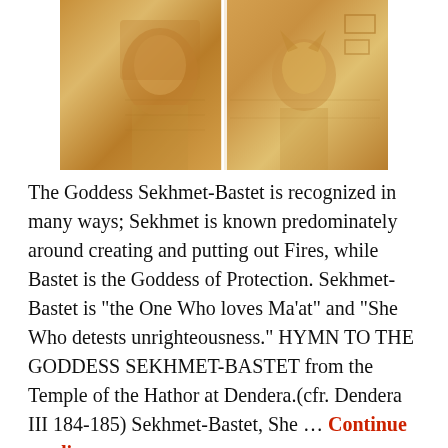[Figure (photo): Two stone relief carvings side by side: left shows a lioness-headed goddess (Sekhmet) in profile with headdress, right shows a cat-headed figure (Bastet) in profile with hieroglyphics in background.]
The Goddess Sekhmet-Bastet is recognized in many ways; Sekhmet is known predominately around creating and putting out Fires, while Bastet is the Goddess of Protection. Sekhmet-Bastet is "the One Who loves Ma'at" and "She Who detests unrighteousness." HYMN TO THE GODDESS SEKHMET-BASTET from the Temple of the Hathor at Dendera.(cfr. Dendera III 184-185) Sekhmet-Bastet, She … Continue reading